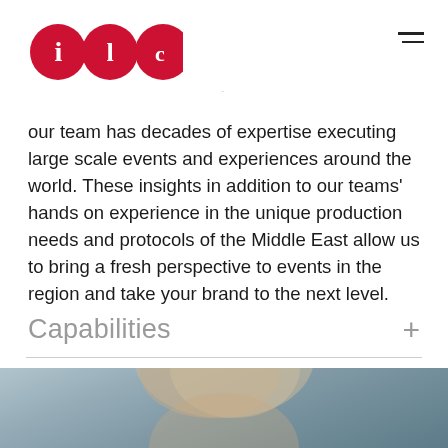ILC logo and navigation menu
our team has decades of expertise executing large scale events and experiences around the world. These insights in addition to our teams' hands on experience in the unique production needs and protocols of the Middle East allow us to bring a fresh perspective to events in the region and take your brand to the next level.
Capabilities
[Figure (photo): Close-up photo of a person with grey/blonde hair, blurred background with blue-grey tones]